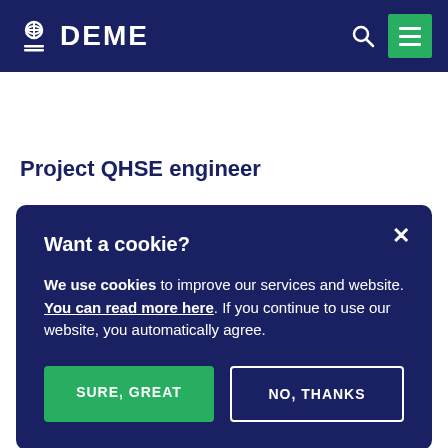DEME
Project QHSE engineer
Want a cookie?
We use cookies to improve our services and website. You can read more here. If you continue to use our website, you automatically agree.
SURE, GREAT
NO, THANKS